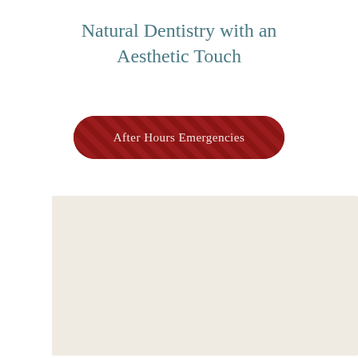Natural Dentistry with an Aesthetic Touch
[Figure (other): Red pill-shaped button with diagonal stripe pattern and white text reading 'After Hours Emergencies']
[Figure (other): Large cream/off-white rectangular panel area]